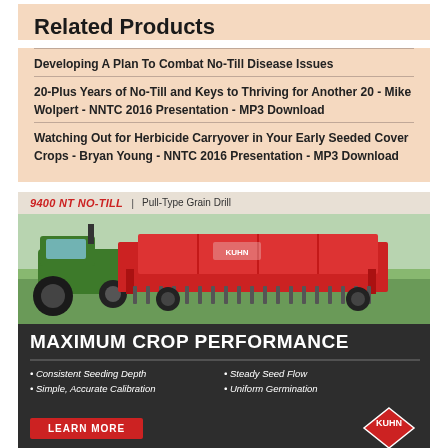Related Products
Developing A Plan To Combat No-Till Disease Issues
20-Plus Years of No-Till and Keys to Thriving for Another 20 - Mike Wolpert - NNTC 2016 Presentation - MP3 Download
Watching Out for Herbicide Carryover in Your Early Seeded Cover Crops - Bryan Young - NNTC 2016 Presentation - MP3 Download
[Figure (photo): Advertisement for Kuhn 9400 NT No-Till Pull-Type Grain Drill showing the machine in a field with text 'MAXIMUM CROP PERFORMANCE', bullet points about features, a LEARN MORE button, and the Kuhn logo with INVEST IN QUALITY tagline.]